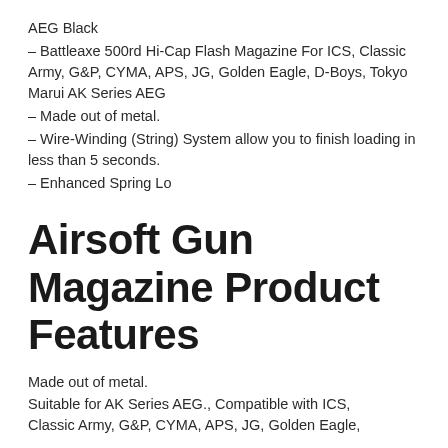AEG Black
– Battleaxe 500rd Hi-Cap Flash Magazine For ICS, Classic Army, G&P, CYMA, APS, JG, Golden Eagle, D-Boys, Tokyo Marui AK Series AEG
– Made out of metal.
– Wire-Winding (String) System allow you to finish loading in less than 5 seconds.
– Enhanced Spring Lo
Airsoft Gun Magazine Product Features
Made out of metal.
Suitable for AK Series AEG., Compatible with ICS, Classic Army, G&P, CYMA, APS, JG, Golden Eagle,